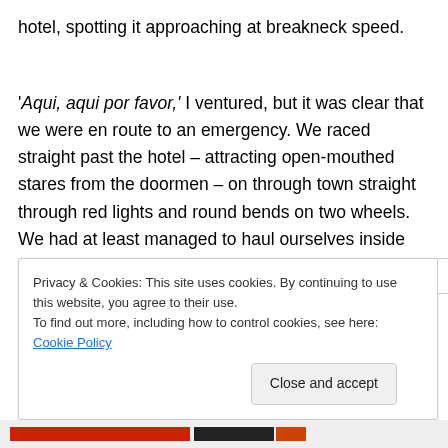hotel, spotting it approaching at breakneck speed.
'Aqui, aqui por favor,' I ventured, but it was clear that we were en route to an emergency. We raced straight past the hotel – attracting open-mouthed stares from the doormen – on through town straight through red lights and round bends on two wheels. We had at least managed to haul ourselves inside and get the doors shut as we
Privacy & Cookies: This site uses cookies. By continuing to use this website, you agree to their use.
To find out more, including how to control cookies, see here: Cookie Policy